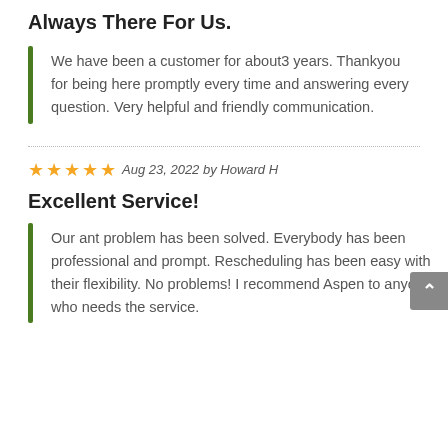Always There For Us.
We have been a customer for about3 years. Thankyou for being here promptly every time and answering every question. Very helpful and friendly communication.
★★★★★  Aug 23, 2022 by Howard H
Excellent Service!
Our ant problem has been solved. Everybody has been professional and prompt. Rescheduling has been easy with their flexibility. No problems! I recommend Aspen to anyone who needs the service.